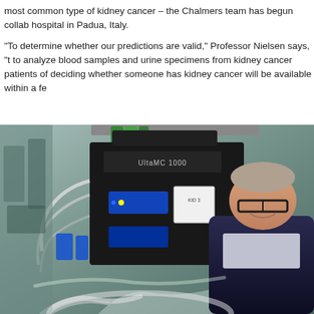most common type of kidney cancer – the Chalmers team has begun collab hospital in Padua, Italy.
"To determine whether our predictions are valid," Professor Nielsen says, "t to analyze blood samples and urine specimens from kidney cancer patients of deciding whether someone has kidney cancer will be available within a fe
[Figure (photo): A man wearing glasses and a dark suit jacket smiling in a laboratory setting, with scientific equipment including what appears to be an UHPLC 1000 or similar chromatography instrument visible in the background, along with various lab tubes, bottles, and blue-screened instruments.]